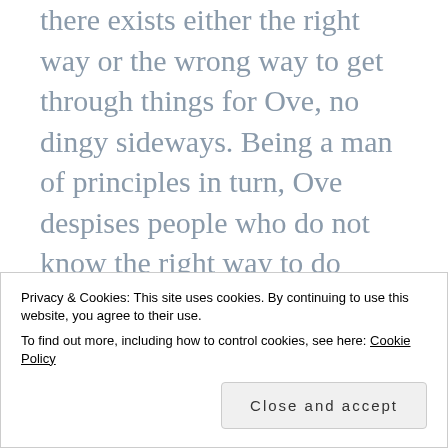there exists either the right way or the wrong way to get through things for Ove, no dingy sideways. Being a man of principles in turn, Ove despises people who do not know the right way to do things. Especially people who don't know how to reverse their trailers without hitting their neighbour's mailboxes. Now what exactly happened to the guy who once fell in love and let its sunshine fill up
Privacy & Cookies: This site uses cookies. By continuing to use this website, you agree to their use. To find out more, including how to control cookies, see here: Cookie Policy